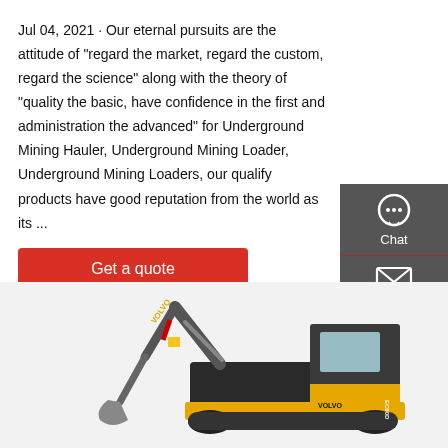Jul 04, 2021 · Our eternal pursuits are the attitude of "regard the market, regard the custom, regard the science" along with the theory of "quality the basic, have confidence in the first and administration the advanced" for Underground Mining Hauler, Underground Mining Loader, Underground Mining Loaders, our qualify products have good reputation from the world as its ...
Get a quote
[Figure (infographic): Sidebar with Chat, Email, and Contact icons on dark grey background]
[Figure (photo): Volvo excavator / mini digger on white background, yellow and black machine]